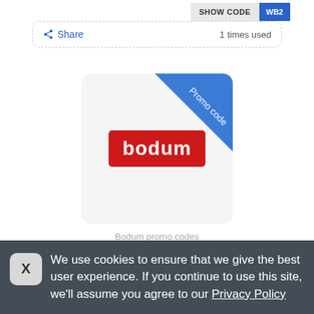SHOW CODE WB2
Share  1 times used
[Figure (logo): Bodum promo code card with blue diagonal 'Promo code' banner and Bodum red logo]
Bodum promo codes
Promo codes Bodum • 27/08/2022
We use cookies to ensure that we give the best user experience. If you continue to use this site, we'll assume you agree to our Privacy Policy